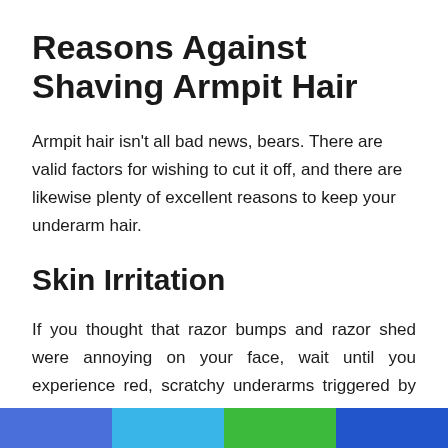Reasons Against Shaving Armpit Hair
Armpit hair isn't all bad news, bears. There are valid factors for wishing to cut it off, and there are likewise plenty of excellent reasons to keep your underarm hair.
Skin Irritation
If you thought that razor bumps and razor shed were annoying on your face, wait until you experience red, scratchy underarms triggered by cut irritability. Of course, many of these skin concerns can be prevented with high-quality shaving items and proper strategy (a lot more on this is listed below); however, it's something to think about before going